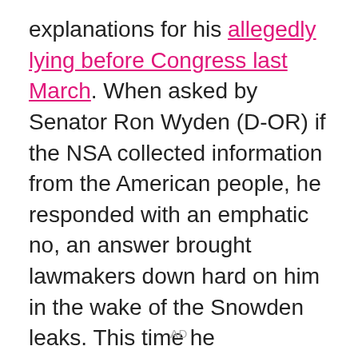explanations for his allegedly lying before Congress last March. When asked by Senator Ron Wyden (D-OR) if the NSA collected information from the American people, he responded with an emphatic no, an answer brought lawmakers down hard on him in the wake of the Snowden leaks. This time he backpedaled, telling The Daily Beast that he simply misunderstood the senator's question. "I was not even thinking of what he was asking about," he said.
AD